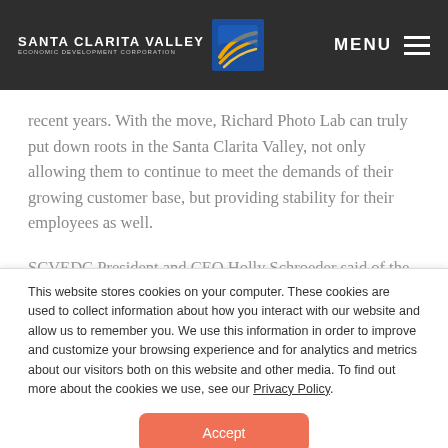SANTA CLARITA VALLEY ECONOMIC DEVELOPMENT CORPORATION | MENU
recent years. With the move, Richard Photo Lab can truly put down roots in the Santa Clarita Valley, not only allowing them to continue to meet the demands of their growing customer base, but providing stability for their employees as well.
SCVEDC President and CEO Holly Schroeder said of the
This website stores cookies on your computer. These cookies are used to collect information about how you interact with our website and allow us to remember you. We use this information in order to improve and customize your browsing experience and for analytics and metrics about our visitors both on this website and other media. To find out more about the cookies we use, see our Privacy Policy.
Accept